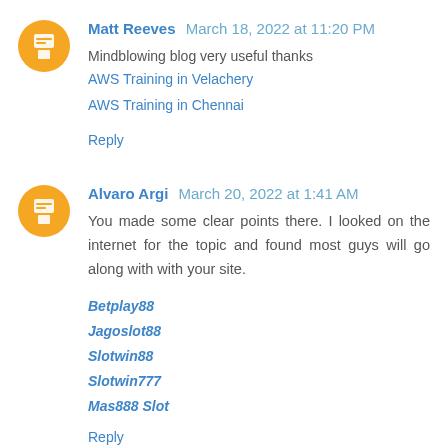Matt Reeves March 18, 2022 at 11:20 PM
Mindblowing blog very useful thanks
AWS Training in Velachery
AWS Training in Chennai
Reply
Alvaro Argi March 20, 2022 at 1:41 AM
You made some clear points there. I looked on the internet for the topic and found most guys will go along with with your site.
Betplay88
Jagoslot88
Slotwin88
Slotwin777
Mas888 Slot
Reply